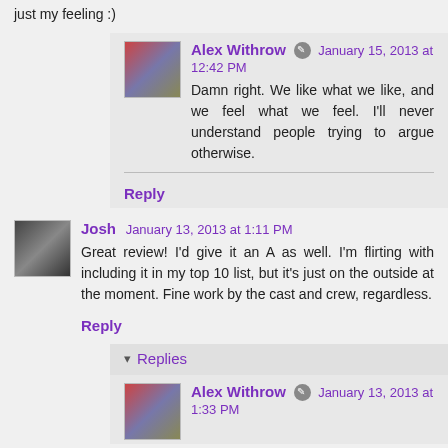just my feeling :)
Alex Withrow  January 15, 2013 at 12:42 PM
Damn right. We like what we like, and we feel what we feel. I'll never understand people trying to argue otherwise.
Reply
Josh  January 13, 2013 at 1:11 PM
Great review! I'd give it an A as well. I'm flirting with including it in my top 10 list, but it's just on the outside at the moment. Fine work by the cast and crew, regardless.
Reply
Replies
Alex Withrow  January 13, 2013 at 1:33 PM